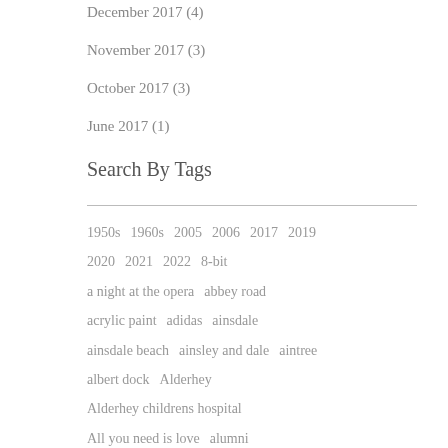December 2017 (4)
November 2017 (3)
October 2017 (3)
June 2017 (1)
Search By Tags
1950s  1960s  2005  2006  2017  2019  2020  2021  2022  8-bit  a night at the opera  abbey road  acrylic paint  adidas  ainsdale  ainsdale beach  ainsley and dale  aintree  albert dock  Alderhey  Alderhey childrens hospital  All you need is love  alumni  amateur football  amazon management  ambassador  Anfield primary  angel